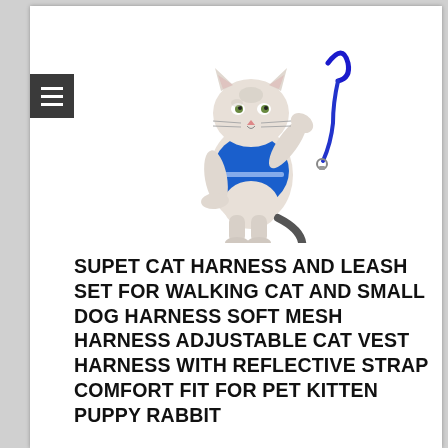[Figure (photo): A cat wearing a blue mesh harness/vest, sitting upright with one paw raised, next to a blue leash on a white background.]
SUPET CAT HARNESS AND LEASH SET FOR WALKING CAT AND SMALL DOG HARNESS SOFT MESH HARNESS ADJUSTABLE CAT VEST HARNESS WITH REFLECTIVE STRAP COMFORT FIT FOR PET KITTEN PUPPY RABBIT